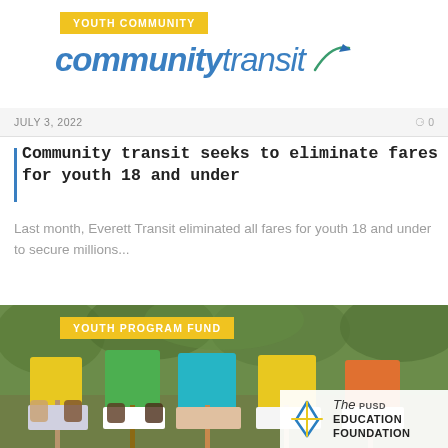YOUTH COMMUNITY | communitytransit
JULY 3, 2022    0
Community transit seeks to eliminate fares for youth 18 and under
Last month, Everett Transit eliminated all fares for youth 18 and under to secure millions...
[Figure (photo): Five children sitting outdoors holding colorful books up to cover their faces, with green foliage in the background. A PUSD Education Foundation logo appears in the bottom right corner.]
YOUTH PROGRAM FUND